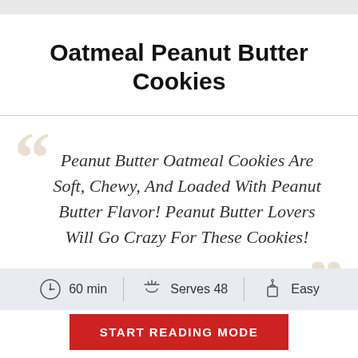Oatmeal Peanut Butter Cookies
Peanut Butter Oatmeal Cookies Are Soft, Chewy, And Loaded With Peanut Butter Flavor! Peanut Butter Lovers Will Go Crazy For These Cookies!
60 min  Serves 48  Easy